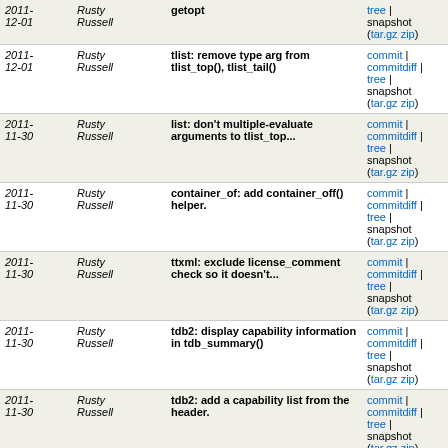| Date | Author | Description | Links |
| --- | --- | --- | --- |
| 2011-12-01 | Rusty Russell | tlist: remove type arg from tlist_top(), tlist_tail() | commit | commitdiff | tree | snapshot (tar.gz zip) |
| 2011-11-30 | Rusty Russell | list: don't multiple-evaluate arguments to tlist_top... | commit | commitdiff | tree | snapshot (tar.gz zip) |
| 2011-11-30 | Rusty Russell | container_of: add container_off() helper. | commit | commitdiff | tree | snapshot (tar.gz zip) |
| 2011-11-30 | Rusty Russell | ttxml: exclude license_comment check so it doesn't... | commit | commitdiff | tree | snapshot (tar.gz zip) |
| 2011-11-30 | Rusty Russell | tdb2: display capability information in tdb_summary() | commit | commitdiff | tree | snapshot (tar.gz zip) |
| 2011-11-30 | Rusty Russell | tdb2: add a capability list from the header. | commit | commitdiff | tree | snapshot (tar.gz zip) |
| 2011-11-30 | Rusty Russell | tdb2: provide tdb_layout_write() rather than implying... | commit | commitdiff | tree | snapshot (tar.gz zip) |
| 2011-11-30 | Rusty Russell | tdb2: add an internal TDB_CANT_CHECK flag. | commit | commitdiff | tree | snapshot (tar.gz zip) |